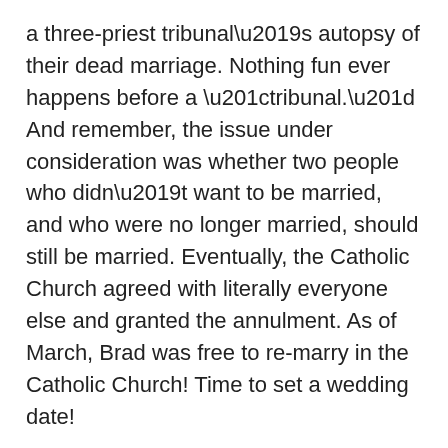a three-priest tribunal's autopsy of their dead marriage. Nothing fun ever happens before a “tribunal.” And remember, the issue under consideration was whether two people who didn’t want to be married, and who were no longer married, should still be married. Eventually, the Catholic Church agreed with literally everyone else and granted the annulment. As of March, Brad was free to remarry in the Catholic Church! Time to set a wedding date!
BUT NOT SO FAST. Brad isn’t free to marry me because I am a divorced woman, i.e, a brazen hussy. I wear the scarlet D. If Brad marries me, the Catholic Church would consider it adultery and excommunicate him.
Now, I had thought, and a reasonable observer might think, that this wouldn’t be an issue since my first marriage